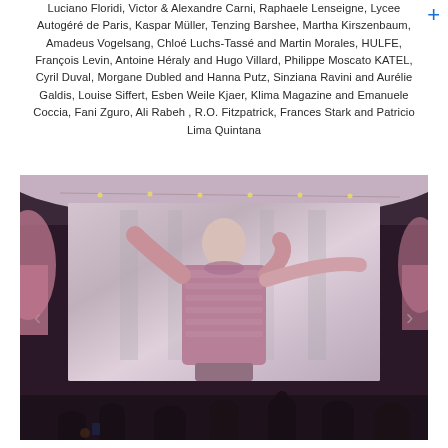Luciano Floridi, Victor & Alexandre Carni, Raphaele Lenseigne, Lycee Autogéré de Paris, Kaspar Müller, Tenzing Barshee, Martha Kirszenbaum, Amadeus Vogelsang, Chloé Luchs-Tassé and Martin Morales, HULFE, François Levin, Antoine Héraly and Hugo Villard, Philippe Moscato KATEL, Cyril Duval, Morgane Dubled and Hanna Putz, Sinziana Ravini and Aurélie Galdis, Louise Siffert, Esben Weile Kjaer, Klima Magazine and Emanuele Coccia, Fani Zguro, Ali Rabeh , R.O. Fitzpatrick, Frances Stark and Patricio Lima Quintana
[Figure (photo): An indoor event photo showing a large projection screen displaying a figure in a pink/mauve sweater with arms raised. Audience silhouettes are visible in the foreground. The room has a ceiling, string lights, and arched windows on the sides.]